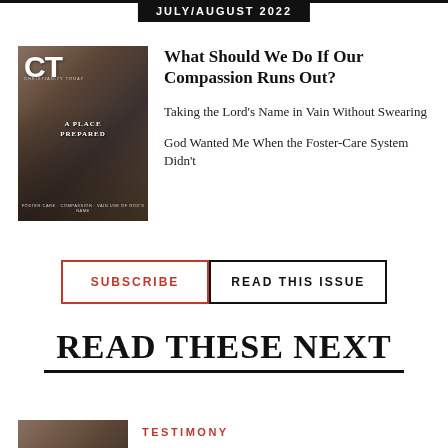JULY/AUGUST 2022
[Figure (illustration): Christianity Today magazine cover for July/August 2022 showing CT logo and cover story 'A Place Prepared' with group of people]
What Should We Do If Our Compassion Runs Out?
Taking the Lord's Name in Vain Without Swearing
God Wanted Me When the Foster-Care System Didn't
SUBSCRIBE
READ THIS ISSUE
READ THESE NEXT
TESTIMONY